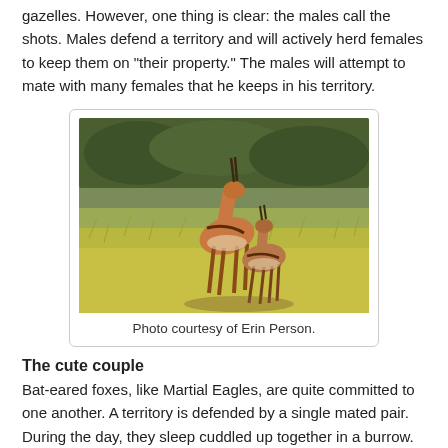gazelles. However, one thing is clear: the males call the shots. Males defend a territory and will actively herd females to keep them on "their property." The males will attempt to mate with many females that he keeps in his territory.
[Figure (photo): Two gazelles in a grassy savanna field, one larger gazelle standing upright behind a smaller one.]
Photo courtesy of Erin Person.
The cute couple
Bat-eared foxes, like Martial Eagles, are quite committed to one another. A territory is defended by a single mated pair. During the day, they sleep cuddled up together in a burrow. During the long nights, they forage together. The two also groom each other, play together, and protect and support